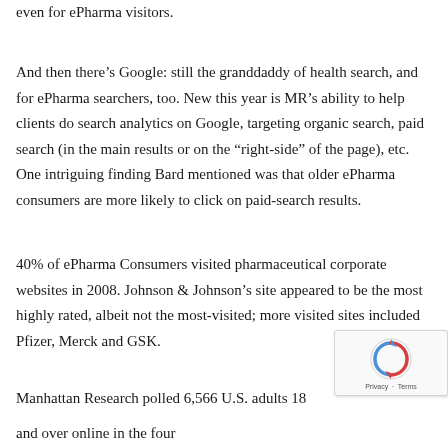even for ePharma visitors.
And then there’s Google: still the granddaddy of health search, and for ePharma searchers, too. New this year is MR’s ability to help clients do search analytics on Google, targeting organic search, paid search (in the main results or on the “right-side” of the page), etc. One intriguing finding Bard mentioned was that older ePharma consumers are more likely to click on paid-search results.
40% of ePharma Consumers visited pharmaceutical corporate websites in 2008. Johnson & Johnson’s site appeared to be the most highly rated, albeit not the most-visited; more visited sites included Pfizer, Merck and GSK.
Manhattan Research polled 6,566 U.S. adults 18 and over online in the fourth quarter of 2008.